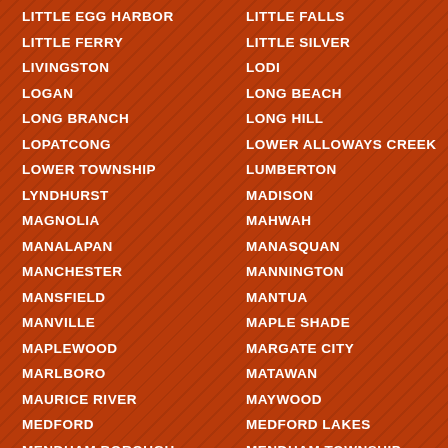LITTLE EGG HARBOR
LITTLE FALLS
LITTLE FERRY
LITTLE SILVER
LIVINGSTON
LODI
LOGAN
LONG BEACH
LONG BRANCH
LONG HILL
LOPATCONG
LOWER ALLOWAYS CREEK
LOWER TOWNSHIP
LUMBERTON
LYNDHURST
MADISON
MAGNOLIA
MAHWAH
MANALAPAN
MANASQUAN
MANCHESTER
MANNINGTON
MANSFIELD
MANTUA
MANVILLE
MAPLE SHADE
MAPLEWOOD
MARGATE CITY
MARLBORO
MATAWAN
MAURICE RIVER
MAYWOOD
MEDFORD
MEDFORD LAKES
MENDHAM BOROUGH
MENDHAM TOWNSHIP